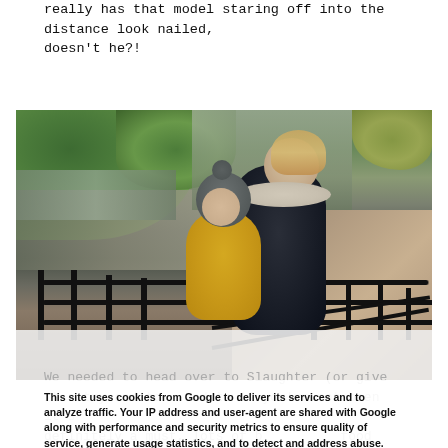really has that model staring off into the distance look nailed, doesn't he?!
[Figure (photo): A woman in a dark puffer jacket with fur-trimmed hood holding a young child dressed in a yellow/mustard jacket and grey knit hat. They are standing at black metal railings beside a path, with green foliage and a river or stream in the background.]
This site uses cookies from Google to deliver its services and to analyze traffic. Your IP address and user-agent are shared with Google along with performance and security metrics to ensure quality of service, generate usage statistics, and to detect and address abuse.
LEARN MORE    OK
We needed to head over to Slaughter (or give it a try and to... if you've not been it's definitely a must, lots of b... great food cooked there and plenty of fresh smiles to take home with you. I did love to smile at...